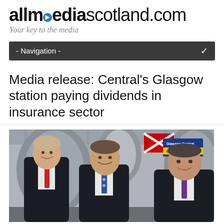allmedia▶scotland.com — Your key to the media
- Navigation -
Media release: Central's Glasgow station paying dividends in insurance sector
[Figure (photo): Three men in dark business suits smiling outside Glasgow Central station. The man on the left wears a red tie, the man in the center wears a blue patterned tie, and the man on the right wears a purple tie. The Glasgow Central station sign is visible in the background along with stone arches.]